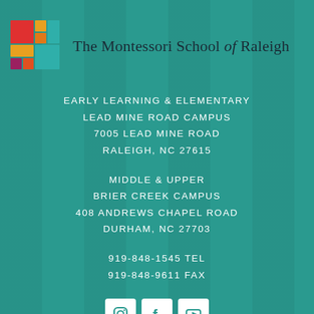[Figure (logo): Colorful grid logo of The Montessori School of Raleigh — 2x2 color blocks: red top-left, orange/yellow bottom-left, pink/magenta bottom-center-left, teal right, orange top-right area]
The Montessori School of Raleigh
EARLY LEARNING & ELEMENTARY
LEAD MINE ROAD CAMPUS
7005 LEAD MINE ROAD
RALEIGH, NC 27615
MIDDLE & UPPER
BRIER CREEK CAMPUS
408 ANDREWS CHAPEL ROAD
DURHAM, NC 27703
919-848-1545 TEL
919-848-9611 FAX
[Figure (logo): Three social media icons in white rounded squares: Instagram, Facebook, YouTube]